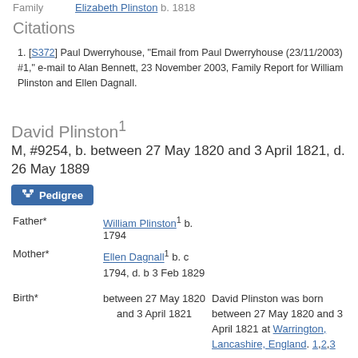Family   Elizabeth Plinston b. 1818
Citations
[S372] Paul Dwerryhouse, "Email from Paul Dwerryhouse (23/11/2003) #1," e-mail to Alan Bennett, 23 November 2003, Family Report for William Plinston and Ellen Dagnall.
David Plinston¹
M, #9254, b. between 27 May 1820 and 3 April 1821, d. 26 May 1889
Pedigree
| Field | Value | Description |
| --- | --- | --- |
| Father* | William Plinston¹ b. 1794 |  |
| Mother* | Ellen Dagnall¹ b. c 1794, d. b 3 Feb 1829 |  |
| Birth* | between 27 May 1820 and 3 April 1821 | David Plinston was born between 27 May 1820 and 3 April 1821 at Warrington, Lancashire, England. 1,2,3 |
| (Witness) | 24 December | He witnessed the |